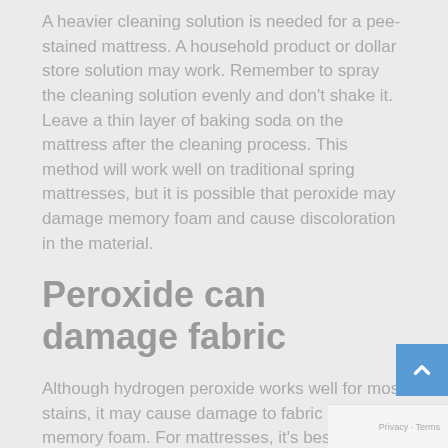A heavier cleaning solution is needed for a pee-stained mattress. A household product or dollar store solution may work. Remember to spray the cleaning solution evenly and don't shake it. Leave a thin layer of baking soda on the mattress after the cleaning process. This method will work well on traditional spring mattresses, but it is possible that peroxide may damage memory foam and cause discoloration in the material.
Peroxide can damage fabric
Although hydrogen peroxide works well for most stains, it may cause damage to fabric and memory foam. For mattresses, it's best to avoid it. Instead, try applying a baking soda solution to the stains. Let the mixture sit for at least eight hours before vacuuming the mattress.